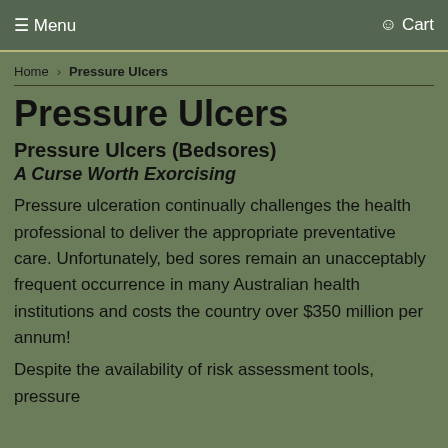≡Menu  Cart
Home › Pressure Ulcers
Pressure Ulcers
Pressure Ulcers (Bedsores)
A Curse Worth Exorcising
Pressure ulceration continually challenges the health professional to deliver the appropriate preventative care. Unfortunately, bed sores remain an unacceptably frequent occurrence in many Australian health institutions and costs the country over $350 million per annum!
Despite the availability of risk assessment tools, pressure